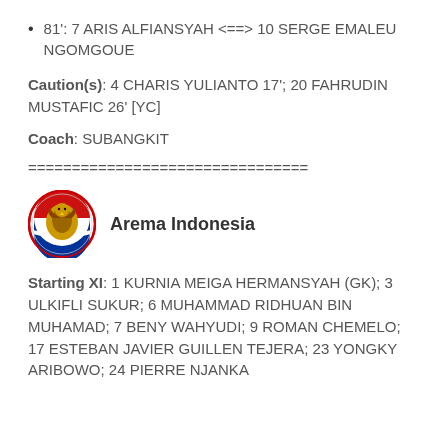81': 7 ARIS ALFIANSYAH <==> 10 SERGE EMALEU NGOMGOUE
Caution(s): 4 CHARIS YULIANTO 17'; 20 FAHRUDIN MUSTAFIC 26' [YC]
Coach: SUBANGKIT
================================
[Figure (logo): Arema Indonesia club logo — circular emblem with eagle/tiger and text]
Arema Indonesia
Starting XI: 1 KURNIA MEIGA HERMANSYAH (GK); 3 ULKIFLI SUKUR; 6 MUHAMMAD RIDHUAN BIN MUHAMAD; 7 BENY WAHYUDI; 9 ROMAN CHEMELO; 17 ESTEBAN JAVIER GUILLEN TEJERA; 23 YONGKY ARIBOWO; 24 PIERRE NJANKA